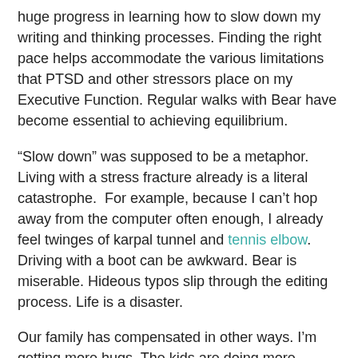huge progress in learning how to slow down my writing and thinking processes. Finding the right pace helps accommodate the various limitations that PTSD and other stressors place on my Executive Function. Regular walks with Bear have become essential to achieving equilibrium.
“Slow down” was supposed to be a metaphor. Living with a stress fracture already is a literal catastrophe.  For example, because I can’t hop away from the computer often enough, I already feel twinges of karpal tunnel and tennis elbow. Driving with a boot can be awkward. Bear is miserable. Hideous typos slip through the editing process. Life is a disaster.
Our family has compensated in other ways. I’m getting more hugs. The kids are doing more dishes. I meditate longer. My stack of library books rivals my mother’s. Yesterday I crossed the border for my first in-person Vancouver Men’s Chorus rehearsal of the year. I’m rocking Wordle. I bingewatch affirming television shows, starting with The Good Place and Ted Lasso.